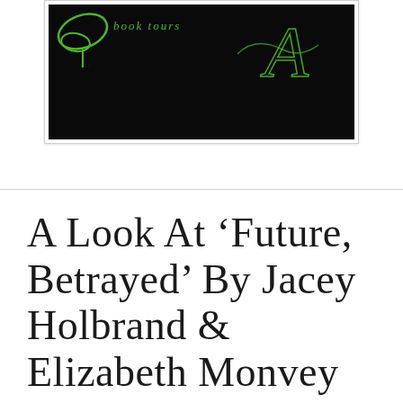[Figure (logo): Book tours banner logo on black background with green cursive text reading 'book tours' and decorative swirl and script lettering]
a look at ‘Future, Betrayed’ by Jacey Holbrand & Elizabeth Monvey #Gay #SciFi #ProjectMars